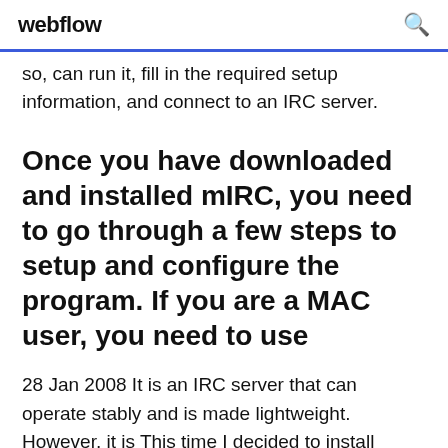webflow
so, can run it, fill in the required setup information, and connect to an IRC server.
Once you have downloaded and installed mIRC, you need to go through a few steps to setup and configure the program. If you are a MAC user, you need to use
28 Jan 2008 It is an IRC server that can operate stably and is made lightweight. However, it is This time I decided to install Windows version. Click "Next". 26 Oct 2013 To get this resource